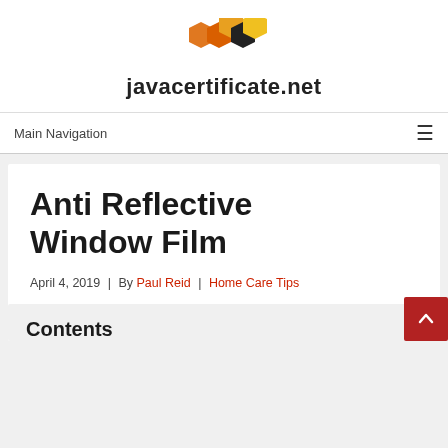[Figure (logo): javacertificate.net honeycomb logo with orange and black hexagons above the site name]
javacertificate.net
Main Navigation
Anti Reflective Window Film
April 4, 2019 | By Paul Reid | Home Care Tips
Contents